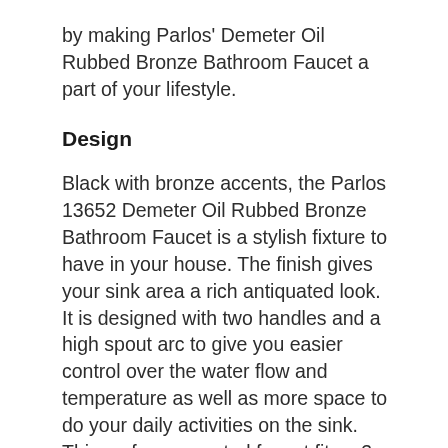by making Parlos' Demeter Oil Rubbed Bronze Bathroom Faucet a part of your lifestyle.
Design
Black with bronze accents, the Parlos 13652 Demeter Oil Rubbed Bronze Bathroom Faucet is a stylish fixture to have in your house. The finish gives your sink area a rich antiquated look. It is designed with two handles and a high spout arc to give you easier control over the water flow and temperature as well as more space to do your daily activities on the sink. This surface-mounted faucet fits a 3-hole mount with widespread installations at any